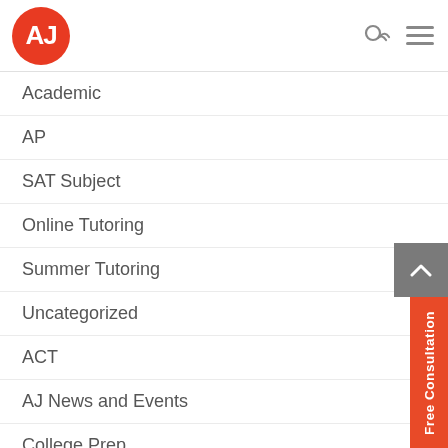[Figure (logo): AJ tutoring logo: red circle with white letters AJ]
Academic
AP
SAT Subject
Online Tutoring
Summer Tutoring
Uncategorized
ACT
AJ News and Events
College Prep
Common Core
For Educators
Link Roundup